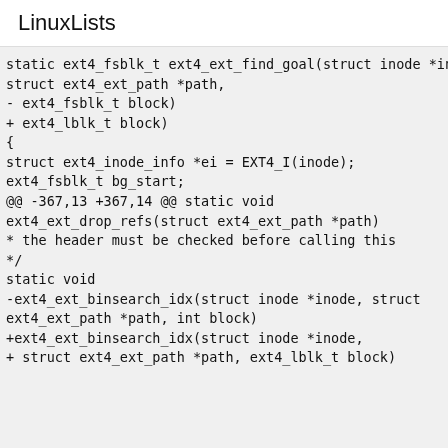LinuxLists
static ext4_fsblk_t ext4_ext_find_goal(struct inode *inode,
struct ext4_ext_path *path,
- ext4_fsblk_t block)
+ ext4_lblk_t block)
{
struct ext4_inode_info *ei = EXT4_I(inode);
ext4_fsblk_t bg_start;
@@ -367,13 +367,14 @@ static void
ext4_ext_drop_refs(struct ext4_ext_path *path)
* the header must be checked before calling this
*/
static void
-ext4_ext_binsearch_idx(struct inode *inode, struct
ext4_ext_path *path, int block)
+ext4_ext_binsearch_idx(struct inode *inode,
+ struct ext4_ext_path *path, ext4_lblk_t block)